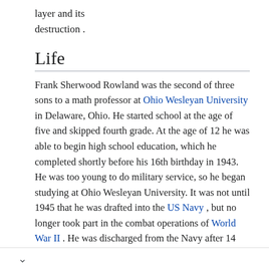layer and its destruction .
Life
Frank Sherwood Rowland was the second of three sons to a math professor at Ohio Wesleyan University in Delaware, Ohio. He started school at the age of five and skipped fourth grade. At the age of 12 he was able to begin high school education, which he completed shortly before his 16th birthday in 1943. He was too young to do military service, so he began studying at Ohio Wesleyan University. It was not until 1945 that he was drafted into the US Navy , but no longer took part in the combat operations of World War II . He was discharged from the Navy after 14 months and continued his studies at Ohio Wesleyan University, majoring in chemistry, physics and mathematics. He completed his studies in 1948 with a bachelor's degree . In the fall of 1948,